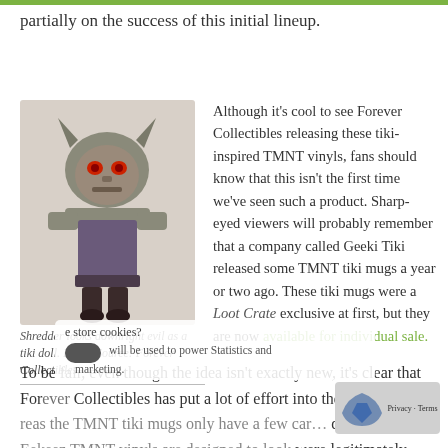partially on the success of this initial lineup.
[Figure (photo): Shredder tiki vinyl doll figure by Forever Collectibles, looks like an evil tiki character with horned helmet and red eyes]
Shredder looks downright evil as a tiki doll. Image Source: Forever Collectibles.
Although it’s cool to see Forever Collectibles releasing these tiki-inspired TMNT vinyls, fans should know that this isn’t the first time we’ve seen such a product. Sharp-eyed viewers will probably remember that a company called Geeki Tiki released some TMNT tiki mugs a year or two ago. These tiki mugs were a Loot Crate exclusive at first, but they are now available for individual sale.
To be fair, even though the idea isn’t exactly new, it’s clear that Forever Collectibles has put a lot of effort into these TMNT t... whereas the TMNT tiki mugs only have a few car... de... these Eekeez TMNT vinyls are designed to look were legitimately carved out of wood. The ornamentation on